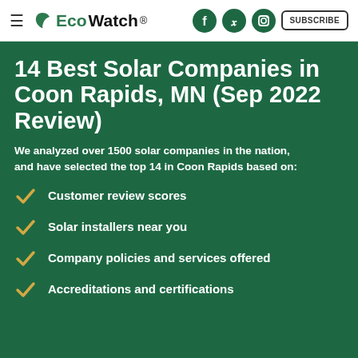EcoWatch | SUBSCRIBE
14 Best Solar Companies in Coon Rapids, MN (Sep 2022 Review)
We analyzed over 1500 solar companies in the nation,
and have selected the top 14 in Coon Rapids based on:
Customer review scores
Solar installers near you
Company policies and services offered
Accreditations and certifications